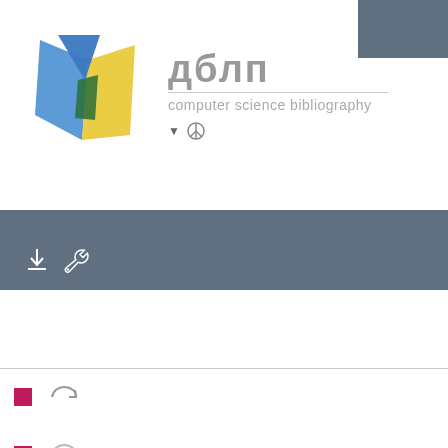[Figure (logo): DBLP logo with geometric blue, yellow, and green shapes forming an abstract arrow/diamond, alongside brand name 'дблп' and subtitle 'computer science bibliography']
[Figure (screenshot): Gray toolbar band with download and wrench/tool icons in white]
[Figure (screenshot): Two list items each with a pink square icon on the left and a circular arrow icon, representing bibliography entries]